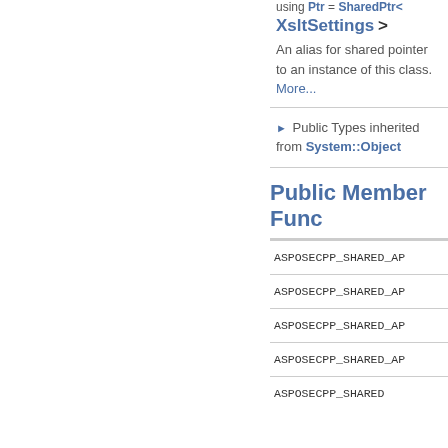using Ptr = SharedPtr< XsltSettings >
An alias for shared pointer to an instance of this class. More...
Public Types inherited from System::Object
Public Member Functions
ASPOSECPP_SHARED_AP
ASPOSECPP_SHARED_AP
ASPOSECPP_SHARED_AP
ASPOSECPP_SHARED_AP
ASPOSECPP_SHARED